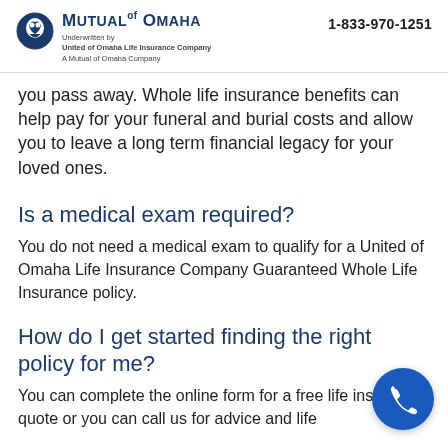Mutual of Omaha | Underwritten by United of Omaha Life Insurance Company A Mutual of Omaha Company | 1-833-970-1251
you pass away. Whole life insurance benefits can help pay for your funeral and burial costs and allow you to leave a long term financial legacy for your loved ones.
Is a medical exam required?
You do not need a medical exam to qualify for a United of Omaha Life Insurance Company Guaranteed Whole Life Insurance policy.
How do I get started finding the right policy for me?
You can complete the online form for a free life insurance quote or you can call us for advice and life